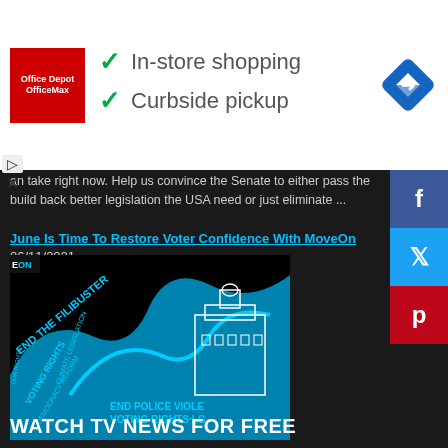[Figure (infographic): Office Depot OfficeMax advertisement banner with logo, checkmarks for 'In-store shopping' and 'Curbside pickup', and a blue navigation diamond icon]
an take right now. Help us convince the Senate to either pass the build back better legislation the USA need or just eliminate ...
June Is Time To Restore Voter Confidence With MoveOn 06/11/2021
[Figure (photo): MoveOn graphic showing a blue wave with text reading 'End The Filibuster', 'Democracy Reform', 'Health Care For All', 'End Police Violence', 'Voting Rights', 'LGBTQ+', 'Gun Rights', 'Climate Legislation', and a Capitol building silhouette]
Help MoveOn restore voter access for all US citizens to the ballot process and confidence in getting the changes we voted for. Resist Trumpism in our legislature, sign the petition to remove Marjorie "Trailer" Greene. ...
WATCH TV NEWS FOR FREE